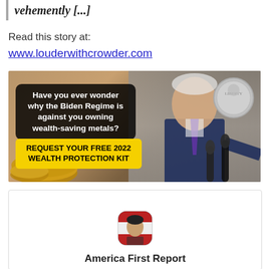vehemently [...]
Read this story at:
www.louderwithcrowder.com
[Figure (photo): Advertisement banner showing text 'Have you ever wonder why the Biden Regime is against you owning wealth-saving metals?' with a yellow CTA box 'REQUEST YOUR FREE 2022 WEALTH PROTECTION KIT' and a photo of Joe Biden pointing, with gold coins in the foreground.]
[Figure (photo): Card with a small rounded avatar photo of an Asian man and below it the text 'America First Report']